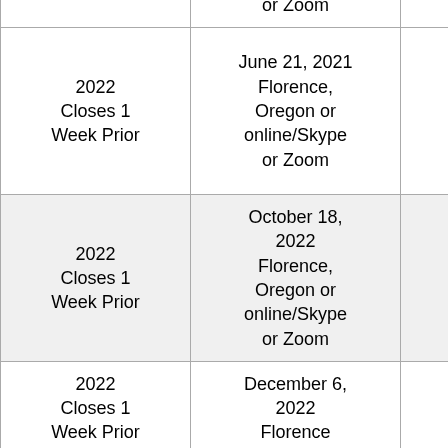| Registration | Day 1 | Day 2 |
| --- | --- | --- |
|  | or Zoom | or Zoom |
| 2022
Closes 1
Week Prior | June 21, 2021
Florence,
Oregon or
online/Skype
or Zoom | June 22,
2022
Florence,
Oregon or
online/Skype
or Zoom |
| 2022
Closes 1
Week Prior | October 18,
2022
Florence,
Oregon or
online/Skype
or Zoom | October 19,
2022
Florence,
Oregon or
online/Skype
or Zoom |
| 2022
Closes 1
Week Prior | December 6,
2022
Florence | December
2022
Florence |